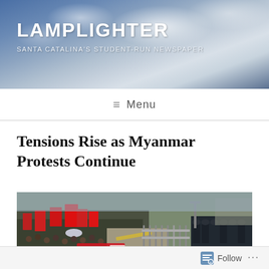LAMPLIGHTER
SANTA CATALINA'S STUDENT-RUN NEWSPAPER
≡ Menu
Tensions Rise as Myanmar Protests Continue
[Figure (photo): Large crowd of protesters carrying red flags facing a line of riot police behind metal barricades on a street in Myanmar]
Follow ...